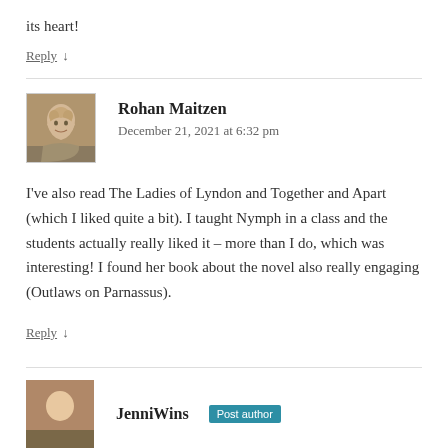its heart!
Reply ↓
Rohan Maitzen
December 21, 2021 at 6:32 pm
I've also read The Ladies of Lyndon and Together and Apart (which I liked quite a bit). I taught Nymph in a class and the students actually really liked it – more than I do, which was interesting! I found her book about the novel also really engaging (Outlaws on Parnassus).
Reply ↓
Post author